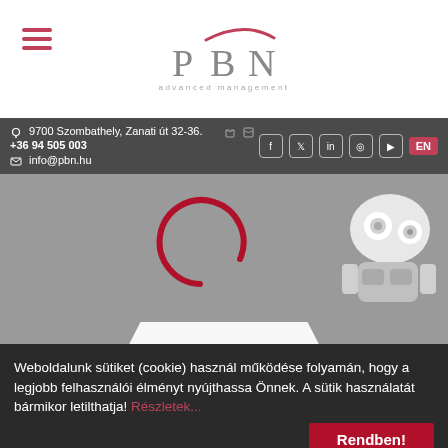[Figure (logo): PBN Advanced Management logo with stylized arc over letters P B N]
[Figure (other): Hamburger menu icon with three pink/red horizontal lines]
9700 Szombathely, Zanati út 32-36.   +36 94 505 003
info@pbn.hu
[Figure (screenshot): Social media icons (Facebook, Twitter, LinkedIn, Instagram, YouTube) plus EN language button]
[Figure (photo): Hero image: grey background with a red circular loading spinner and partial white robot figure on the right side. Text banner at bottom reads RUNNING PROJECTS.]
Főoldal
Weboldalunk sütiket (cookie) használ működése folyamán, hogy a legjobb felhasználói élményt nyújthassa Önnek. A sütik használatát bármikor letilthatja! Részletek...
Rendben!